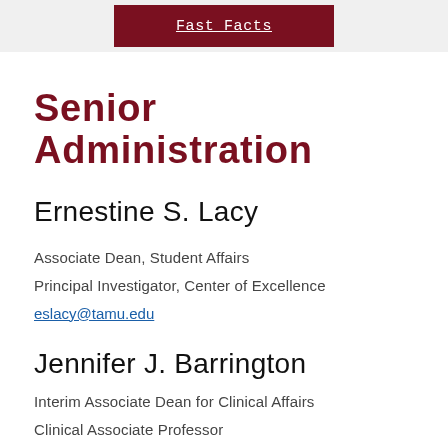Fast Facts
Senior Administration
Ernestine S. Lacy
Associate Dean, Student Affairs
Principal Investigator, Center of Excellence
eslacy@tamu.edu
Jennifer J. Barrington
Interim Associate Dean for Clinical Affairs
Clinical Associate Professor